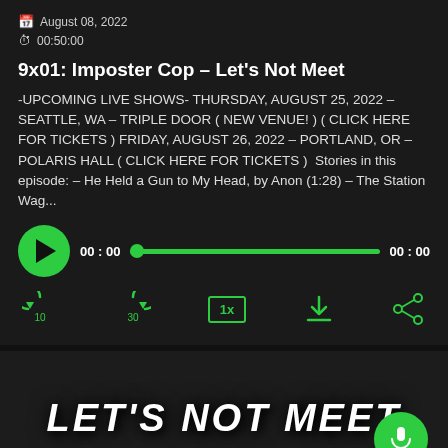August 08, 2022
00:50:00
9x01: Imposter Cop - Let's Not Meet
-UPCOMING LIVE SHOWS- THURSDAY, AUGUST 25, 2022 - SEATTLE, WA - TRIPLE DOOR ( NEW VENUE! ) ( CLICK HERE FOR TICKETS ) FRIDAY, AUGUST 26, 2022 - PORTLAND, OR - POLARIS HALL ( CLICK HERE FOR TICKETS )  Stories in this episode: - He Held a Gun to My Head, by Anon (1:28) - The Station Wag...
[Figure (screenshot): Audio player with play button, progress bar showing 00:00 time, and media controls including rewind 10s, forward 30s, speed 1x, download, and share buttons]
[Figure (screenshot): Podcast artwork showing 'LET'S NOT MEET' text logo in stylized horror font, with a microphone FAB button]